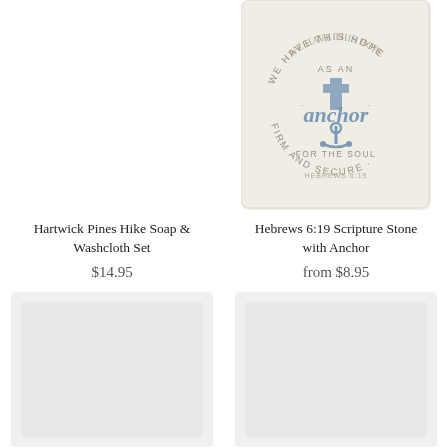[Figure (photo): White blank area where left product photo would appear (Hartwick Pines Hike Soap & Washcloth Set) - mostly white/blank in original]
[Figure (photo): Photo of a cream/beige stone tile with blue anchor graphic and text reading WE HAVE THIS HOPE AS AN anchor FOR THE SOUL FIRM AND SECURE HEBREWS 6:19]
Hartwick Pines Hike Soap & Washcloth Set
$14.95
Hebrews 6:19 Scripture Stone with Anchor
from $8.95
[Figure (photo): Partially visible product image at bottom left - white/light colored]
[Figure (photo): Partially visible product image at bottom right - white/light colored]